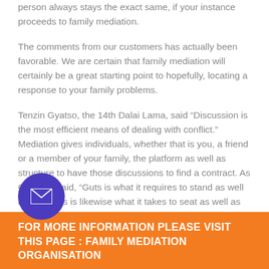person always stays the exact same, if your instance proceeds to family mediation.
The comments from our customers has actually been favorable. We are certain that family mediation will certainly be a great starting point to hopefully, locating a response to your family problems.
Tenzin Gyatso, the 14th Dalai Lama, said “Discussion is the most efficient means of dealing with conflict.” Mediation gives individuals, whether that is you, a friend or a member of your family, the platform as well as structure to have those discussions to find a contract. As Churchill said, “Guts is what it requires to stand as well as talk; guts is likewise what it takes to seat as well as pay attention.”
FOR MORE INFORMATION PLEASE VISIT THIS PAGE : FAMILY MEDIATION ORGANISATION